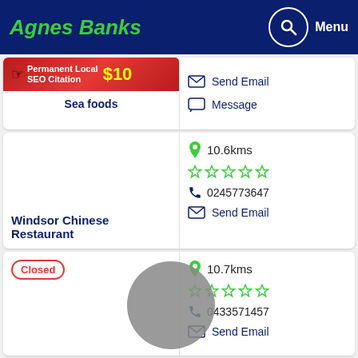Agnes Banks | Menu
[Figure (infographic): Permanent Local SEO Citation $10 banner with hand cursor icon]
Sea foods
Send Email
Message
10.6kms
0245773647
Send Email
Windsor Chinese Restaurant
Closed
10.7kms
0433571457
Send Email